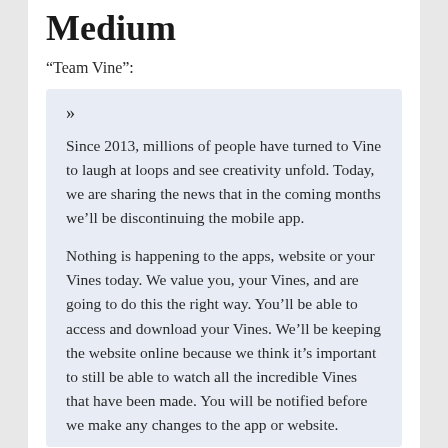Medium
“Team Vine”:
»

Since 2013, millions of people have turned to Vine to laugh at loops and see creativity unfold. Today, we are sharing the news that in the coming months we’ll be discontinuing the mobile app.

Nothing is happening to the apps, website or your Vines today. We value you, your Vines, and are going to do this the right way. You’ll be able to access and download your Vines. We’ll be keeping the website online because we think it’s important to still be able to watch all the incredible Vines that have been made. You will be notified before we make any changes to the app or website.